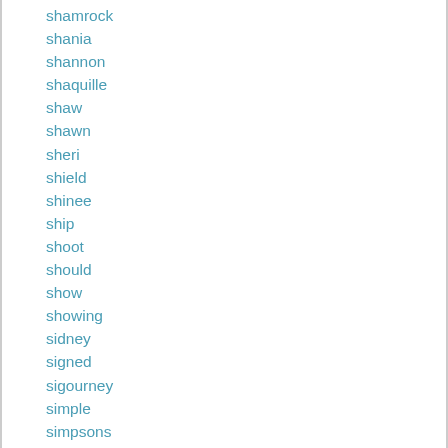shamrock
shania
shannon
shaquille
shaw
shawn
sheri
shield
shinee
ship
shoot
should
show
showing
sidney
signed
sigourney
simple
simpsons
sinclair
singer
siouxsie
slabbed
slaughter